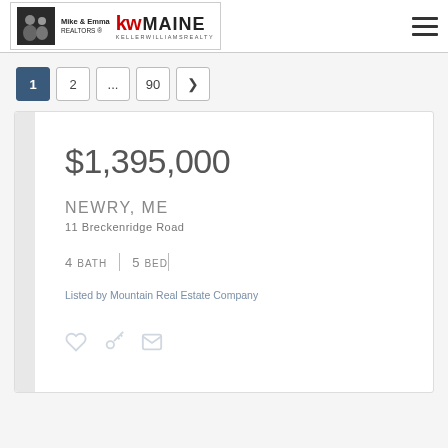Mike & Emma REALTORS ® | KW MAINE KELLERWILLIAMSREALTY
Pagination: 1, 2, ..., 90, >
$1,395,000
NEWRY, ME
11 Breckenridge Road
4 BATH | 5 BED |
Listed by Mountain Real Estate Company